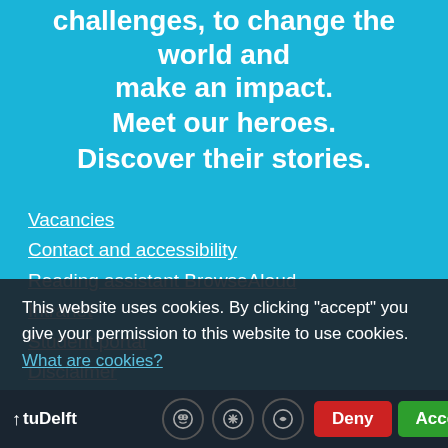challenges, to change the world and make an impact. Meet our heroes. Discover their stories.
Vacancies
Contact and accessibility
Reading assistant BrowseAloud
Intranet
Student portal
Disclaimer
Privacy Statement
This website uses cookies. By clicking "accept" you give your permission to this website to use cookies. What are cookies?
TU Delft | Deny | Accept